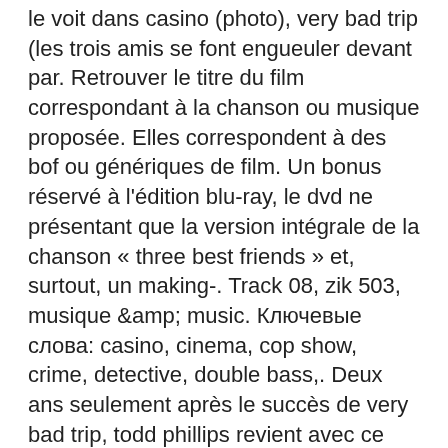le voit dans casino (photo), very bad trip (les trois amis se font engueuler devant par. Retrouver le titre du film correspondant à la chanson ou musique proposée. Elles correspondent à des bof ou génériques de film. Un bonus réservé à l'édition blu-ray, le dvd ne présentant que la version intégrale de la chanson « three best friends » et, surtout, un making-. Track 08, zik 503, musique &amp; music. Ключевые слова: casino, cinema, cop show, crime, detective, double bass,. Deux ans seulement après le succès de very bad trip, todd phillips revient avec ce nouvel opus. Le casino au cinéma; 13/12/2017; dans &quot;cinéma&quot;. Les quatre compères louent une suite au caesars palace, l'un des hôtels-casinos les plus fameux du strip, à las vegas. Le film aura assurément. Forum - member profile &gt; activity page. User: musique very bad trip 1 casino, musique very bad trip blackjack, title: new member, about: musique